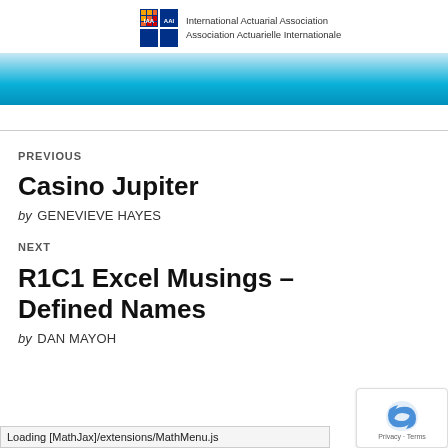[Figure (logo): International Actuarial Association / Association Actuarielle Internationale logo with IAA AAI text and colorful grid icon, above a blue gradient banner]
PREVIOUS
Casino Jupiter
by GENEVIEVE HAYES
NEXT
R1C1 Excel Musings - Defined Names
by DAN MAYOH
Loading [MathJax]/extensions/MathMenu.js